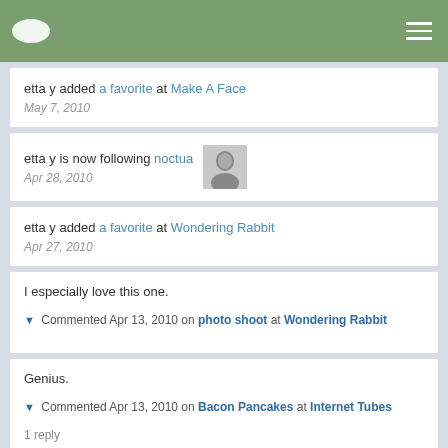Navigation header with logo and menu
etta y added a favorite at Make A Face
May 7, 2010
etta y is now following noctua
Apr 28, 2010
etta y added a favorite at Wondering Rabbit
Apr 27, 2010
I especially love this one.
▼ Commented Apr 13, 2010 on photo shoot at Wondering Rabbit
Genius.
▼ Commented Apr 13, 2010 on Bacon Pancakes at Internet Tubes
1 reply
etta y added a photo at mmmeow